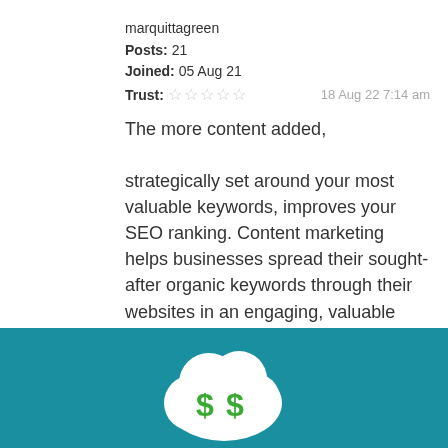marquittagreen
Posts: 21
Joined: 05 Aug 21
Trust: ☆☆☆☆☆   18 Aug 22 7:14 am
The more content added, strategically set around your most valuable keywords, improves your SEO ranking. Content marketing helps businesses spread their sought-after organic keywords through their websites in an engaging, valuable way, it can also increase the number of backlinks.
[Figure (illustration): Teal/blue banner with a white cloud icon containing green dollar signs]